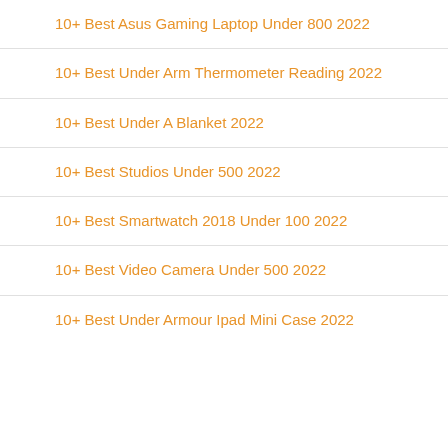10+ Best Asus Gaming Laptop Under 800 2022
10+ Best Under Arm Thermometer Reading 2022
10+ Best Under A Blanket 2022
10+ Best Studios Under 500 2022
10+ Best Smartwatch 2018 Under 100 2022
10+ Best Video Camera Under 500 2022
10+ Best Under Armour Ipad Mini Case 2022